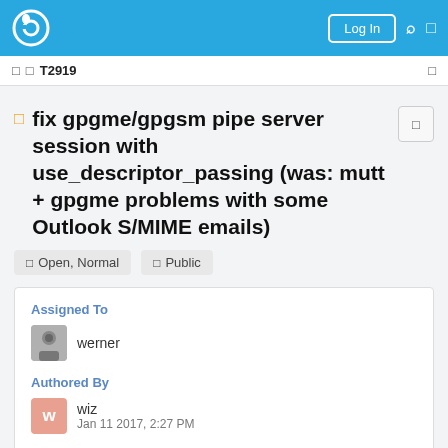Log In
□ □ T2919
fix gpgme/gpgsm pipe server session with use_descriptor_passing (was: mutt + gpgme problems with some Outlook S/MIME emails)
□ Open, Normal   □ Public
Assigned To
werner
Authored By
wiz
Jan 11 2017, 2:27 PM
Tags
□ Bug Report
□ gpgme (Backlog)